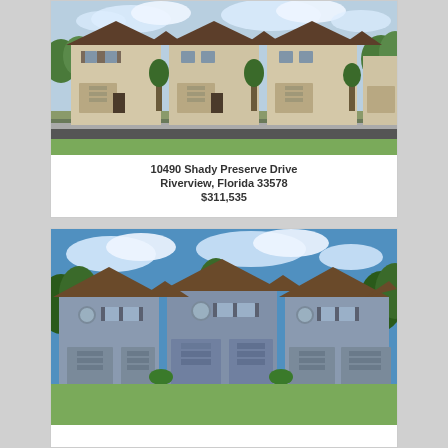[Figure (photo): Exterior rendering of multi-unit townhome community with beige/tan stucco finish, brown tile roofs, and multiple garage doors, green lawn in foreground]
10490 Shady Preserve Drive
Riverview, Florida 33578
$311,535
[Figure (photo): Exterior rendering of multi-unit townhome community with gray/blue stucco finish, brown roofs, green trees in background]